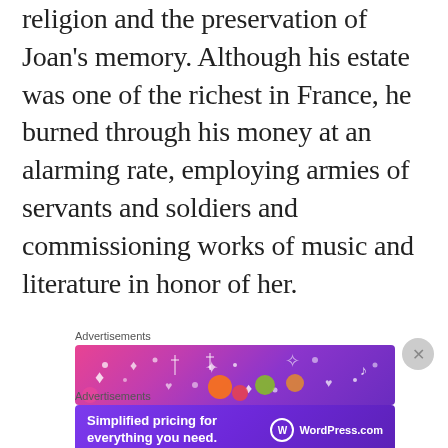religion and the preservation of Joan's memory. Although his estate was one of the richest in France, he burned through his money at an alarming rate, employing armies of servants and soldiers and commissioning works of music and literature in honor of her.
Advertisements
[Figure (other): Colorful advertisement banner with pink-to-purple gradient background and decorative sparkle/confetti elements]
Advertisements
[Figure (other): WordPress.com advertisement banner with purple background reading 'Simplified pricing for everything you need. WordPress.com']